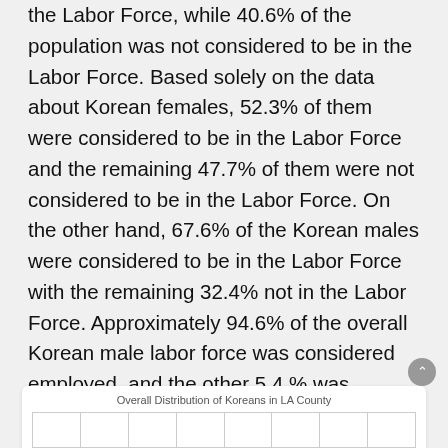the Labor Force, while 40.6% of the population was not considered to be in the Labor Force. Based solely on the data about Korean females, 52.3% of them were considered to be in the Labor Force and the remaining 47.7% of them were not considered to be in the Labor Force. On the other hand, 67.6% of the Korean males were considered to be in the Labor Force with the remaining 32.4% not in the Labor Force. Approximately 94.6% of the overall Korean male labor force was considered employed, and the other 5.4 % was considered unemployed. Approximately 92.9% of the overall female labor force was considered employed and the other 7.1% was considered unemployed.
Overall Distribution of Koreans in LA County